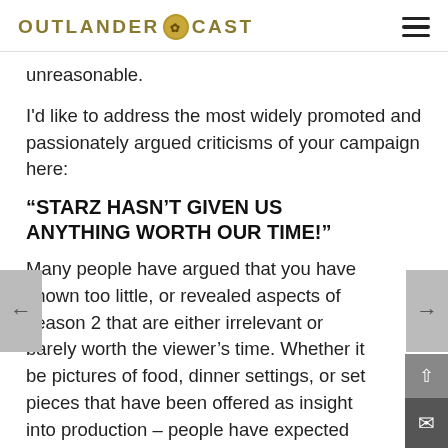OUTLANDER CAST
unreasonable.
I'd like to address the most widely promoted and passionately argued criticisms of your campaign here:
“STARZ HASN’T GIVEN US ANYTHING WORTH OUR TIME!”
Many people have argued that you have shown too little, or revealed aspects of season 2 that are either irrelevant or barely worth the viewer’s time. Whether it be pictures of food, dinner settings, or set pieces that have been offered as insight into production – people have expected